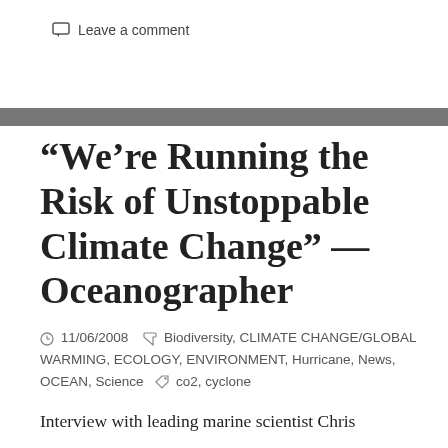Leave a comment
“We’re Running the Risk of Unstoppable Climate Change” — Oceanographer
11/06/2008   Biodiversity, CLIMATE CHANGE/GLOBAL WARMING, ECOLOGY, ENVIRONMENT, Hurricane, News, OCEAN, Science   co2, cyclone
Interview with leading marine scientist Chris